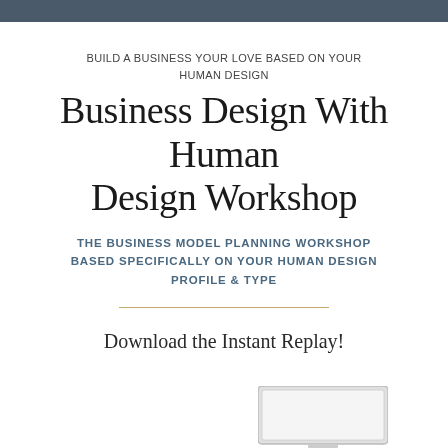BUILD A BUSINESS YOUR LOVE BASED ON YOUR HUMAN DESIGN
Business Design With Human Design Workshop
THE BUSINESS MODEL PLANNING WORKSHOP BASED SPECIFICALLY ON YOUR HUMAN DESIGN PROFILE & TYPE
Download the Instant Replay!
[Figure (screenshot): Bottom portion of a laptop or tablet device mockup, partially visible at the bottom right of the page]